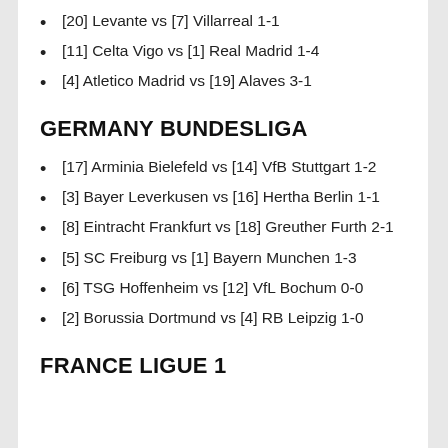[20] Levante vs [7] Villarreal 1-1
[11] Celta Vigo vs [1] Real Madrid 1-4
[4] Atletico Madrid vs [19] Alaves 3-1
GERMANY BUNDESLIGA
[17] Arminia Bielefeld vs [14] VfB Stuttgart 1-2
[3] Bayer Leverkusen vs [16] Hertha Berlin 1-1
[8] Eintracht Frankfurt vs [18] Greuther Furth 2-1
[5] SC Freiburg vs [1] Bayern Munchen 1-3
[6] TSG Hoffenheim vs [12] VfL Bochum 0-0
[2] Borussia Dortmund vs [4] RB Leipzig 1-0
FRANCE LIGUE 1